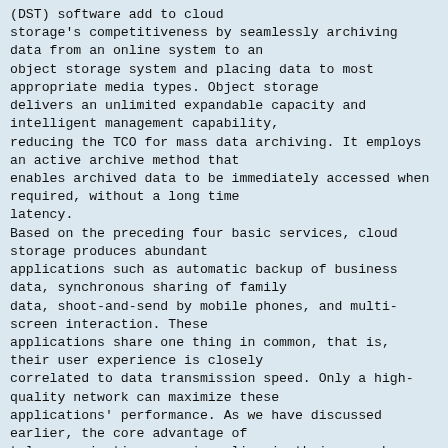(DST) software add to cloud storage's competitiveness by seamlessly archiving data from an online system to an object storage system and placing data to most appropriate media types. Object storage delivers an unlimited expandable capacity and intelligent management capability, reducing the TCO for mass data archiving. It employs an active archive method that enables archived data to be immediately accessed when required, without a long time latency.
Based on the preceding four basic services, cloud storage produces abundant applications such as automatic backup of business data, synchronous sharing of family data, shoot-and-send by mobile phones, and multi-screen interaction. These applications share one thing in common, that is, their user experience is closely correlated to data transmission speed. Only a high-quality network can maximize these applications' performance. As we have discussed earlier, the core advantage of telecommunications carriers lies in their superb network quality. Therefore, cloud storage becomes the optimal field where carriers can exploit their advantages, expand new markets, and enforce service transformation.
HUAWEI UDS system: An innovative product helping telco carrier transformation
The selection of a proper cloud storage platform is